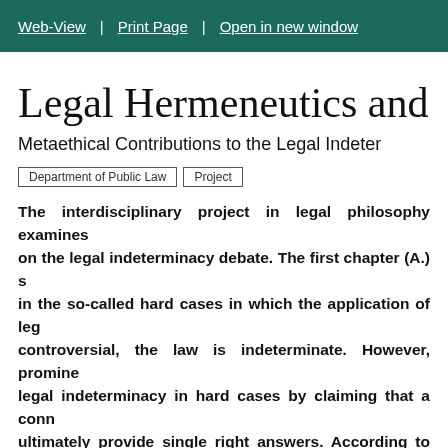Web-View | Print Page | Open in new window
Legal Hermeneutics and M
Metaethical Contributions to the Legal Indeter
Department of Public Law   Project
The interdisciplinary project in legal philosophy examines on the legal indeterminacy debate. The first chapter (A.) s in the so-called hard cases in which the application of leg controversial, the law is indeterminate. However, promine legal indeterminacy in hard cases by claiming that a conn ultimately provide single right answers. According to that necessary and sufficient condition for the right answer the metaethics, the subject whose object of investigation is m offers an overview of the metaethical landscape by presen which argues that moral judgments depend at best on sub conventions, which would undermine ab initio the right ans objectivism assumes that some moral judgments are trut